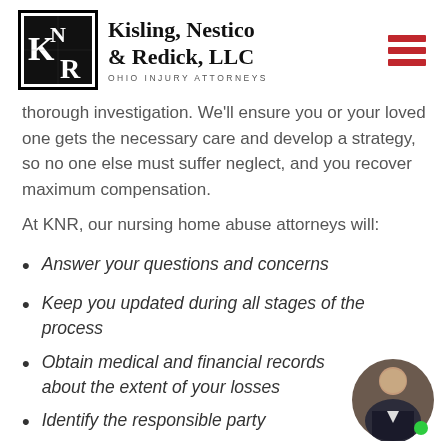[Figure (logo): Kisling, Nestico & Redick, LLC logo with KNR initials in a black bordered box, and firm name and tagline 'Ohio Injury Attorneys']
thorough investigation. We'll ensure you or your loved one gets the necessary care and develop a strategy, so no one else must suffer neglect, and you recover maximum compensation.
At KNR, our nursing home abuse attorneys will:
Answer your questions and concerns
Keep you updated during all stages of the process
Obtain medical and financial records about the extent of your losses
Identify the responsible party
[Figure (photo): Circular headshot of a man in a suit, with a small green dot in the lower right of the circle]